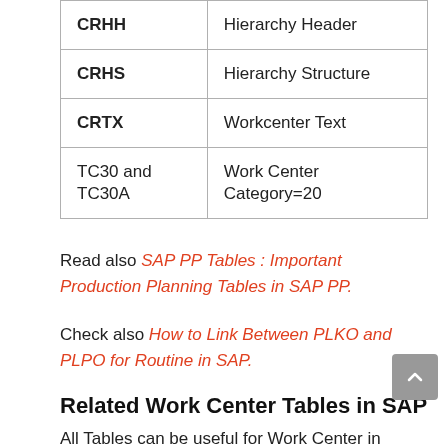| Code | Description |
| --- | --- |
| CRHH | Hierarchy Header |
| CRHS | Hierarchy Structure |
| CRTX | Workcenter Text |
| TC30 and TC30A | Work Center Category=20 |
Read also SAP PP Tables : Important Production Planning Tables in SAP PP.
Check also How to Link Between PLKO and PLPO for Routine in SAP.
Related Work Center Tables in SAP
All Tables can be useful for Work Center in SAP.